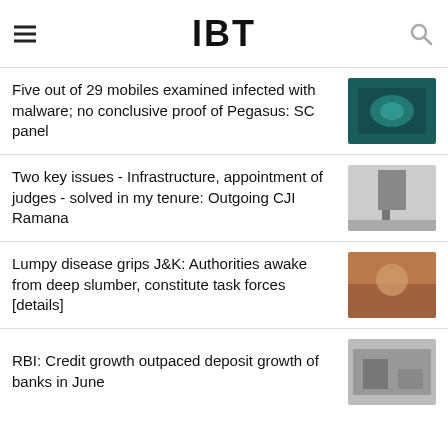IBT
Five out of 29 mobiles examined infected with malware; no conclusive proof of Pegasus: SC panel
Two key issues - Infrastructure, appointment of judges - solved in my tenure: Outgoing CJI Ramana
Lumpy disease grips J&K: Authorities awake from deep slumber, constitute task forces [details]
RBI: Credit growth outpaced deposit growth of banks in June